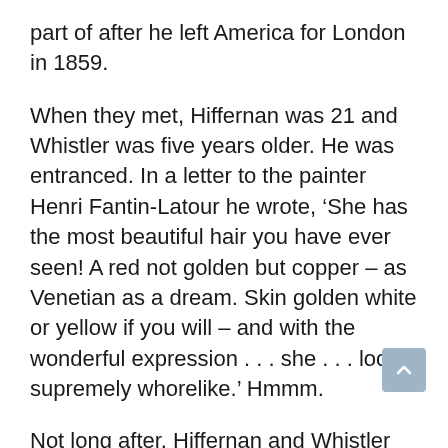part of after he left America for London in 1859.
When they met, Hiffernan was 21 and Whistler was five years older. He was entranced. In a letter to the painter Henri Fantin-Latour he wrote, ‘She has the most beautiful hair you have ever seen! A red not golden but copper – as Venetian as a dream. Skin golden white or yellow if you will – and with the wonderful expression . . . she . . . looks supremely whorelike.’ Hmmm.
Not long after, Hiffernan and Whistler